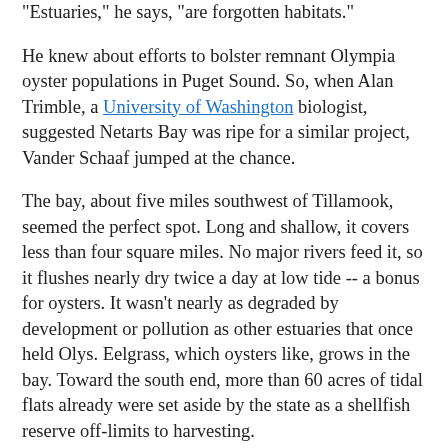"Estuaries," he says, "are forgotten habitats."
He knew about efforts to bolster remnant Olympia oyster populations in Puget Sound. So, when Alan Trimble, a University of Washington biologist, suggested Netarts Bay was ripe for a similar project, Vander Schaaf jumped at the chance.
The bay, about five miles southwest of Tillamook, seemed the perfect spot. Long and shallow, it covers less than four square miles. No major rivers feed it, so it flushes nearly dry twice a day at low tide -- a bonus for oysters. It wasn't nearly as degraded by development or pollution as other estuaries that once held Olys. Eelgrass, which oysters like, grows in the bay. Toward the south end, more than 60 acres of tidal flats already were set aside by the state as a shellfish reserve off-limits to harvesting.
Plus, the conservancy could learn from about a dozen small commercial oyster farmers working outside the reserve; recreational oyster harvesting is prohibited in Oregon.
The operators of Whiskey Creek Shellfish Hatchery across